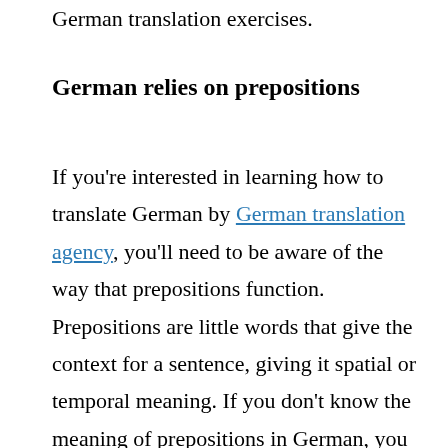German translation exercises.
German relies on prepositions
If you're interested in learning how to translate German by German translation agency, you'll need to be aware of the way that prepositions function. Prepositions are little words that give the context for a sentence, giving it spatial or temporal meaning. If you don't know the meaning of prepositions in German, you may have to